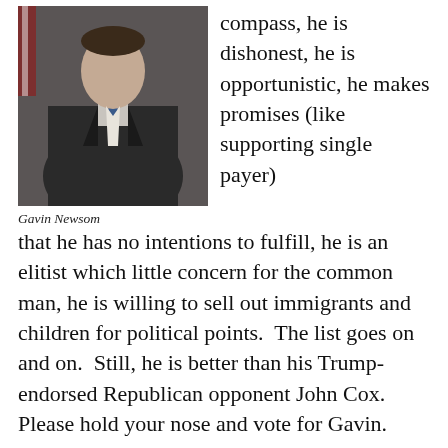[Figure (photo): Photo of Gavin Newsom, a man in a dark suit with a blue tie, standing with hands clasped in front, with a flag visible in the background.]
Gavin Newsom
compass, he is dishonest, he is opportunistic, he makes promises (like supporting single payer) that he has no intentions to fulfill, he is an elitist which little concern for the common man, he is willing to sell out immigrants and children for political points.  The list goes on and on.  Still, he is better than his Trump-endorsed Republican opponent John Cox.  Please hold your nose and vote for Gavin.
Lieutenant Governor: Undecided